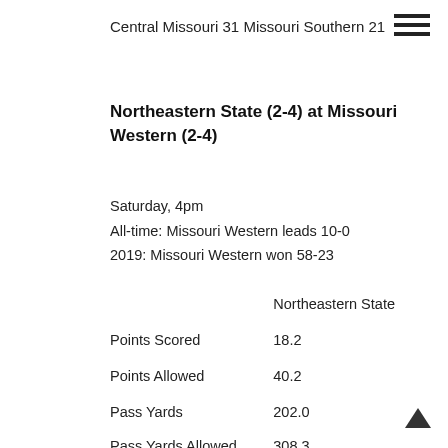Central Missouri 31 Missouri Southern 21
Northeastern State (2-4) at Missouri Western (2-4)
Saturday, 4pm
All-time: Missouri Western leads 10-0
2019: Missouri Western won 58-23
|  | Northeastern State |
| --- | --- |
| Points Scored | 18.2 |
| Points Allowed | 40.2 |
| Pass Yards | 202.0 |
| Pass Yards Allowed | 308.3 |